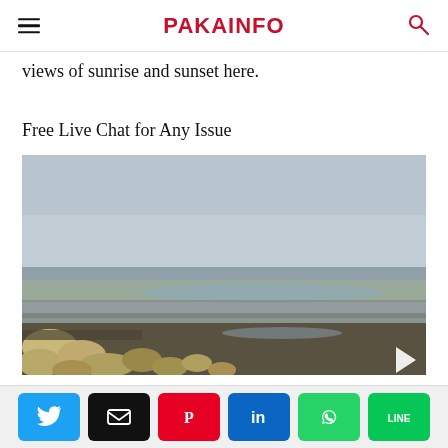PAKAINFO
views of sunrise and sunset here.
Free Live Chat for Any Issue
[Figure (photo): Coastal landscape with rocky shoreline in the foreground, shallow tidal water and sand flats in the middle ground, and an overcast grey sky. Rocks and boulders are visible near the bottom of the image.]
Social share buttons: Twitter, Email, Pinterest, LinkedIn, WhatsApp, Line